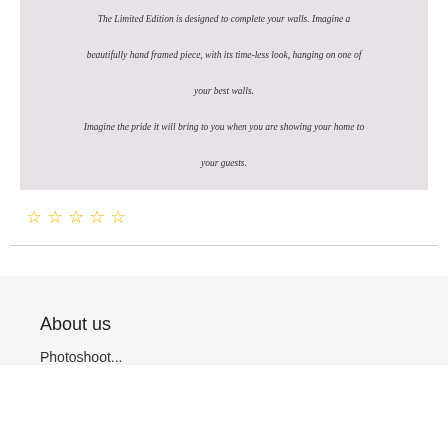The Limited Edition is designed to complete your walls. Imagine a beautifully hand framed piece, with its time-less look, hanging on one of your best walls. Imagine the pride it will bring to you when you are showing your home to your guests.
[Figure (other): Five empty star rating icons in yellow/gold outline]
About us
Photoshoot...